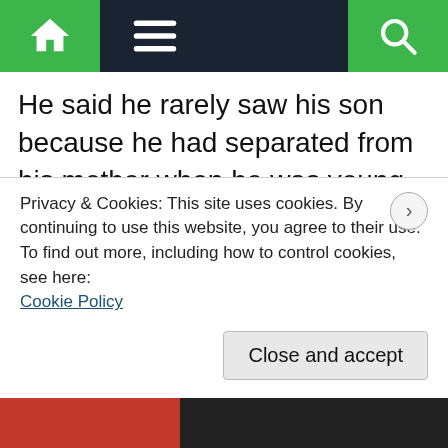Navigation bar with home, menu, and search icons
He said he rarely saw his son because he had separated from his mother when he was young and she raised him.
Ad added that when he last saw him a year ago his son apologised for not having taken care of him.
Another policeman committed suicide today with
Privacy & Cookies: This site uses cookies. By continuing to use this website, you agree to their use.
To find out more, including how to control cookies, see here:
Cookie Policy
Close and accept